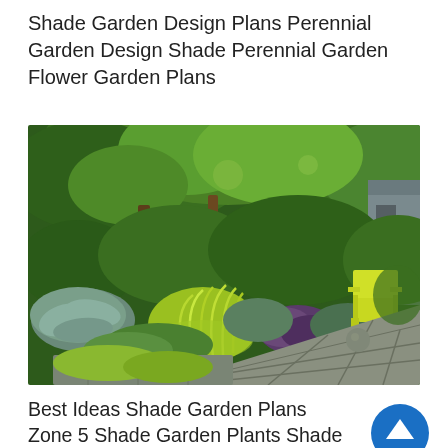Shade Garden Design Plans Perennial Garden Design Shade Perennial Garden Flower Garden Plans
[Figure (photo): A lush shade garden with hostas, ornamental grasses, and various perennial plants in shades of green and purple, along a flagstone patio path with a yellow-green Adirondack chair in the background.]
Best Ideas Shade Garden Plans Zone 5 Shade Garden Plants Shade Garden Design Shade Garden